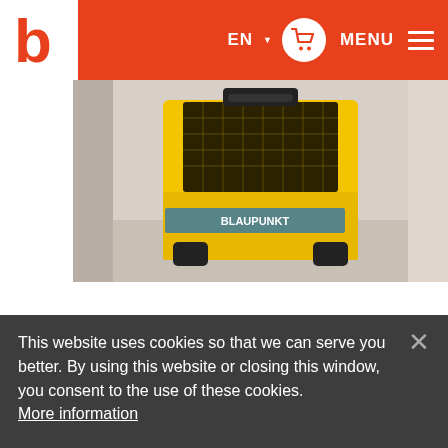EN  MENU
[Figure (photo): Yellow industrial machine/equipment visible in a narrow corridor or elevator, photographed from above/front]
This website uses cookies so that we can serve you better. By using this website or closing this window, you consent to the use of these cookies. More information